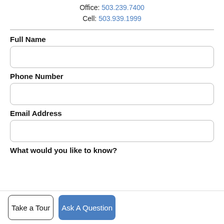Office: 503.239.7400
Cell: 503.939.1999
Full Name
Phone Number
Email Address
What would you like to know?
Take a Tour
Ask A Question